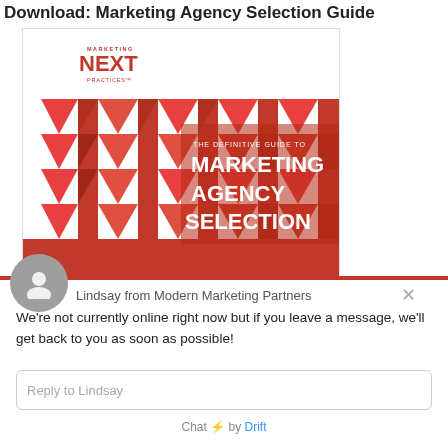Download: Marketing Agency Selection Guide
[Figure (illustration): Book cover for 'The Definitive Guide to Marketing Agency Selection' by Marketing Next Practices, featuring red geometric triangle patterns on the left and title text on the right on a white/red background.]
Lindsay from Modern Marketing Partners
We're not currently online right now but if you leave a message, we'll get back to you as soon as possible!
Reply to Lindsay
Chat ⚡ by Drift